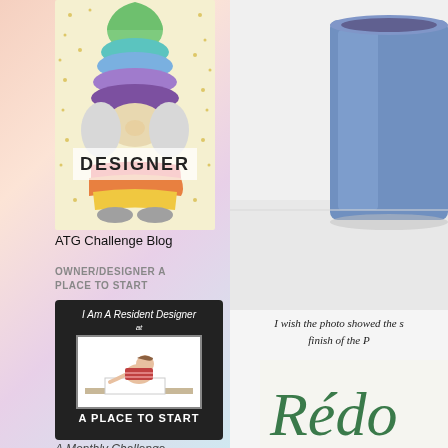[Figure (illustration): Rainbow gnome with 'DESIGNER' text overlay badge for ATG Challenge Blog]
ATG Challenge Blog
OWNER/DESIGNER A PLACE TO START
[Figure (illustration): Black badge reading 'I Am A Resident Designer at A PLACE TO START' with child drawing illustration]
A Monthly Challenge
[Figure (photo): Blue mug on white surface, right side of page]
I wish the photo showed the s finish of the P
[Figure (logo): Green cursive text starting with 'Rédo' — partial logo visible]